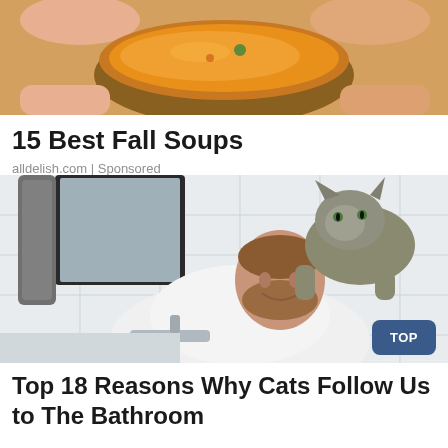[Figure (photo): Hands holding a ceramic bowl of orange soup, viewed from above]
15 Best Fall Soups
alldelish.com | Sponsored
[Figure (photo): A cat perched on a man's shoulders/back while he leans over a bathroom sink, with white subway tile walls and a mirror in background]
Top 18 Reasons Why Cats Follow Us to The Bathroom